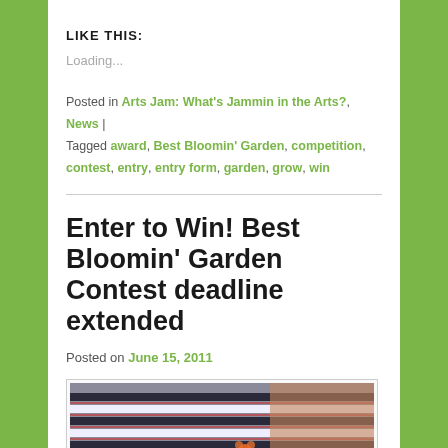LIKE THIS:
Loading...
Posted in Arts Jam: What's Jammin in the Arts?, News | Tagged award, Best Bloomin' Garden, competition, contest, entry, entry form, garden, grow, win
Enter to Win! Best Bloomin' Garden Contest deadline extended
Posted on June 15, 2011
[Figure (photo): Person wearing a navy blue and white striped shirt with a small orange flower brooch/pin]